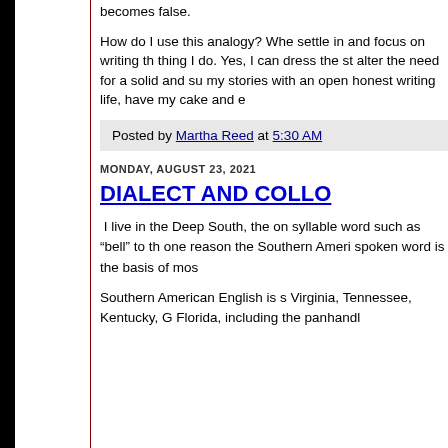becomes false.
How do I use this analogy? Whe settle in and focus on writing th thing I do. Yes, I can dress the st alter the need for a solid and su my stories with an open honest writing life, have my cake and e
Posted by Martha Reed at 5:30 AM
MONDAY, AUGUST 23, 2021
DIALECT AND COLLO
I live in the Deep South, the on syllable word such as "bell" to th one reason the Southern Ameri spoken word is the basis of mos
Southern American English is s Virginia, Tennessee, Kentucky, G Florida, including the panhandl